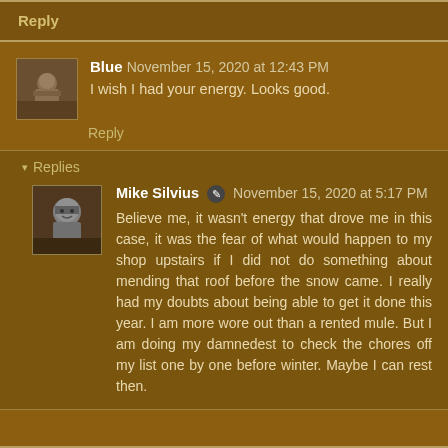Reply
Blue November 15, 2020 at 12:43 PM
I wish I had your energy. Looks good.
Reply
Replies
Mike Silvius November 15, 2020 at 5:17 PM
Believe me, it wasn't energy that drove me in this case, it was the fear of what would happen to my shop upstairs if I did not do something about mending that roof before the snow came. I really had my doubts about being able to get it done this year. I am more wore out than a rented mule. But I am doing my damnedest to check the chores off my list one by one before winter. Maybe I can rest then.